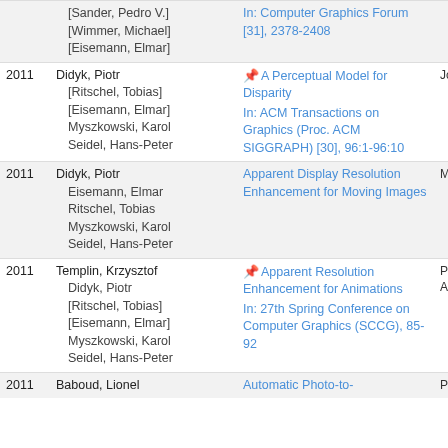| Year | Authors | Title | Venue |
| --- | --- | --- | --- |
|  | [Sander, Pedro V.]
[Wimmer, Michael]
[Eisemann, Elmar] | In: Computer Graphics Forum [31], 2378-2408 |  |
| 2011 | Didyk, Piotr
[Ritschel, Tobias]
[Eisemann, Elmar]
Myszkowski, Karol
Seidel, Hans-Peter | A Perceptual Model for Disparity
In: ACM Transactions on Graphics (Proc. ACM SIGGRAPH) [30], 96:1-96:10 | Jo |
| 2011 | Didyk, Piotr
Eisemann, Elmar
Ritschel, Tobias
Myszkowski, Karol
Seidel, Hans-Peter | Apparent Display Resolution Enhancement for Moving Images | Mis |
| 2011 | Templin, Krzysztof
Didyk, Piotr
[Ritschel, Tobias]
[Eisemann, Elmar]
Myszkowski, Karol
Seidel, Hans-Peter | Apparent Resolution Enhancement for Animations
In: 27th Spring Conference on Computer Graphics (SCCG), 85-92 | Pro Art |
| 2011 | Baboud, Lionel | Automatic Photo-to-... | Pro |